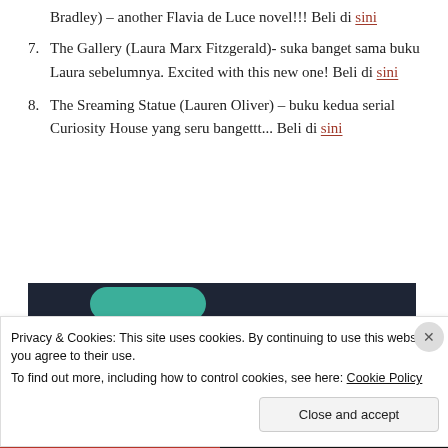Bradley) – another Flavia de Luce novel!!! Beli di sini
7. The Gallery (Laura Marx Fitzgerald)- suka banget sama buku Laura sebelumnya. Excited with this new one! Beli di sini
8. The Sreaming Statue (Lauren Oliver) – buku kedua serial Curiosity House yang seru bangettt... Beli di sini
[Figure (screenshot): Dark banner with teal rounded rectangle shape and sensei logo]
Privacy & Cookies: This site uses cookies. By continuing to use this website, you agree to their use. To find out more, including how to control cookies, see here: Cookie Policy
Close and accept